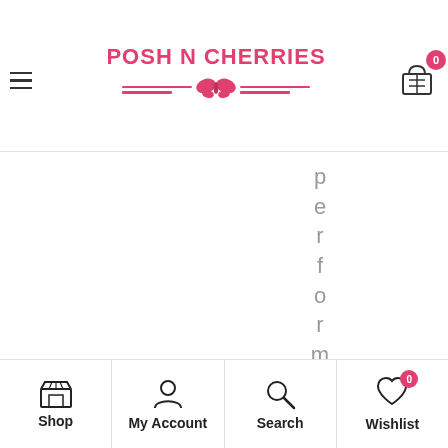[Figure (screenshot): Posh N Cherries e-commerce website header with logo, hamburger menu, and shopping cart with badge showing 0]
performance services
[Figure (screenshot): Bottom navigation bar with Shop, My Account, Search, and Wishlist icons. Wishlist has a red badge showing 0.]